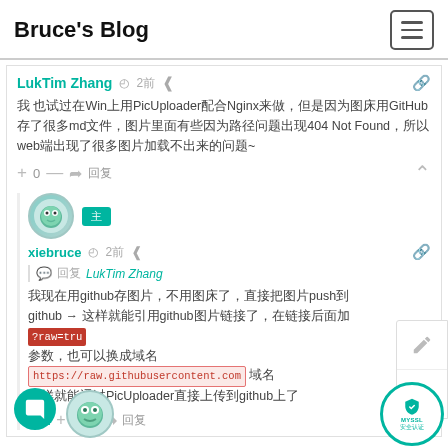Bruce's Blog
LukTim Zhang  ⏱ 2前  Share icon  Link icon
我 也试过在Win上用PicUploader配合Nginx来做，但是因为图床用GitHub存了很多md文件，图片里面有些因为路径问题出现404 Not Found，所以web端出现了很多图片加载不出来的问题~
+ 0 —  Reply  回复  ^ collapse
xiebruce  ⏱ 2前  Share  Link
回复 LukTim Zhang
我现在用github存图片，不用图床了，直接把图片push到github → 这样就能引用github图片链接了，在链接后面加 ?raw=true 参数，也可以换成 https://raw.githubusercontent.com 域名，这样就能通过PicUploader直接上传到github上了
174 + 0 —  → 回复